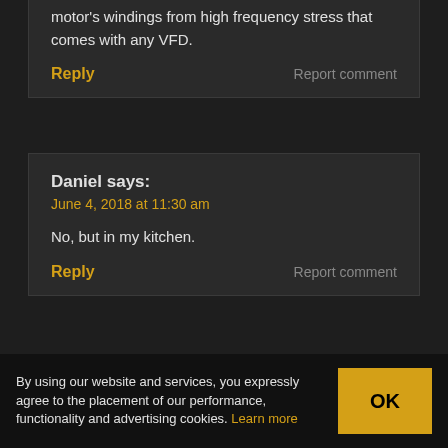motor's windings from high frequency stress that comes with any VFD.
Reply   Report comment
Daniel says:
June 4, 2018 at 11:30 am
No, but in my kitchen.
Reply   Report comment
James Ward says:
By using our website and services, you expressly agree to the placement of our performance, functionality and advertising cookies. Learn more